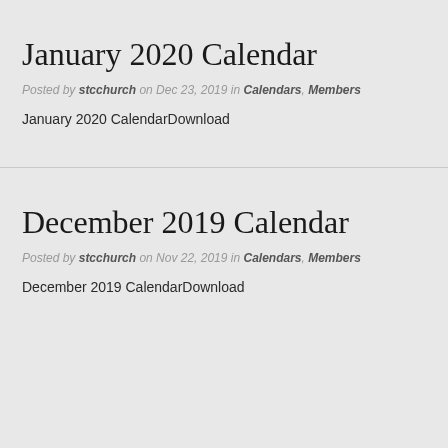January 2020 Calendar
Posted by stcchurch on Dec 23, 2019 in Calendars, Members
January 2020 CalendarDownload
December 2019 Calendar
Posted by stcchurch on Nov 22, 2019 in Calendars, Members
December 2019 CalendarDownload